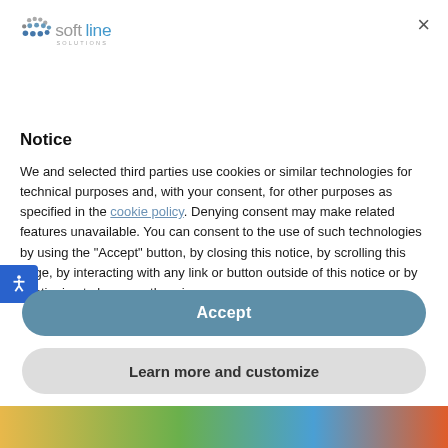[Figure (logo): Softline Solutions logo with dots/circles icon and text 'softline SOLUTIONS']
×
Notice
We and selected third parties use cookies or similar technologies for technical purposes and, with your consent, for other purposes as specified in the cookie policy. Denying consent may make related features unavailable. You can consent to the use of such technologies by using the "Accept" button, by closing this notice, by scrolling this page, by interacting with any link or button outside of this notice or by continuing to browse otherwise.
Accept
Learn more and customize